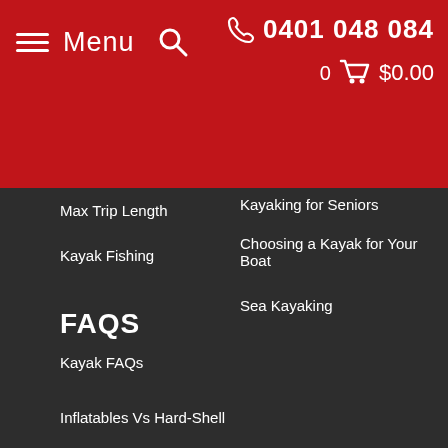Menu | Search | 0401 048 084 | 0 $0.00
Max Trip Length
Kayak Fishing
Kayaking for Seniors
Choosing a Kayak for Your Boat
Sea Kayaking
FAQS
Kayak FAQs
Kayak Care
Pumps, Valves & Adaptors
Inflatables Vs Hard-Shell
Are They Any Good?
Are They Safe?
How To Pay